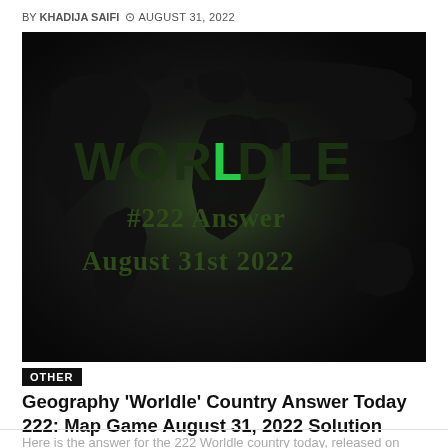BY KHADIJA SAIFI   AUGUST 31, 2022
[Figure (illustration): Worldle game logo image showing a world map silhouette in black on a dark background with the word WORLDLE in large dark green text (with the L highlighted in bright green), below which reads '#222 Answer' and 'August 31st 2022' in dark green text.]
OTHER
Geography 'Worldle' Country Answer Today 222: Map Game August 31, 2022 Solution
Here is the answer for the 222 Worldle country today, released on August 31st, 2022 and some hints to.